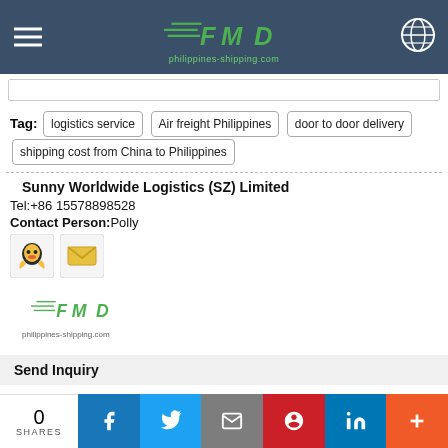philippines-shipping.com
Tag: logistics service | Air freight Philippines | door to door delivery | shipping cost from China to Philippines
Sunny Worldwide Logistics (SZ) Limited
Tel:+86 15578898528
Contact Person:Polly
[Figure (logo): FMD Philippines-shipping.com logo with speed lines]
Send Inquiry
0 SHARES | Facebook | Twitter | Email | Pinterest | LinkedIn | More